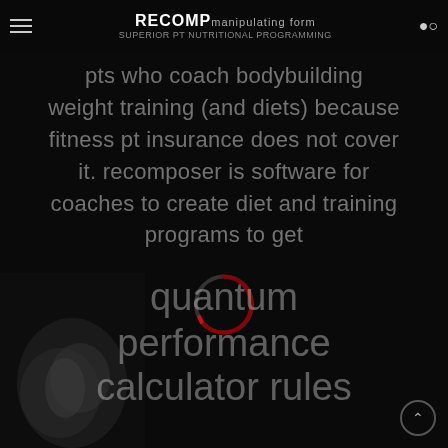RECOMP manipulating form · SUPERIOR PT NUTRITIONAL PROGRAMMING
pts who coach bodybuilding weight training (and diets) because fitness pt insurance does not cover it. recomposer is software for coaches to create diet and training programs to get
[Figure (other): Loading spinner circle, partially filled with red/dark gradient arc]
[Figure (photo): Dark background photo of a hand/forearm, very dark and blurred]
quantum performance calculator rules